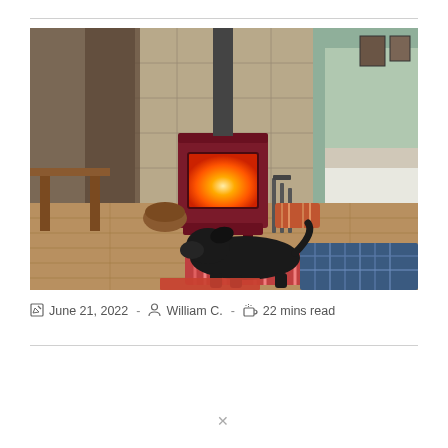[Figure (photo): A black dog lying on striped and plaid blankets/cushions in front of a dark red wood-burning stove with glowing fire visible through the glass door. The stove sits on a hardwood floor against a tile-backed wall with a flue pipe going up. A wooden table is visible on the left, and a bedroom doorway is visible on the right with a white bed inside. Fireplace tools and a basket are near the stove.]
June 21, 2022  -  William C.  -  22 mins read